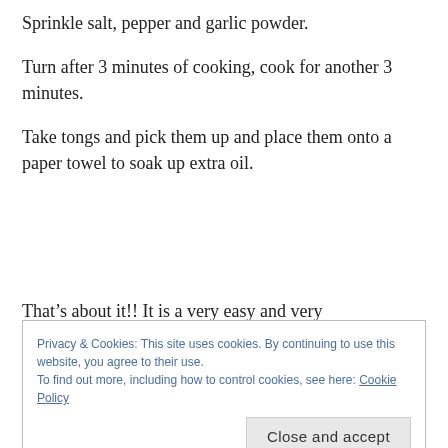Sprinkle salt, pepper and garlic powder.
Turn after 3 minutes of cooking, cook for another 3 minutes.
Take tongs and pick them up and place them onto a paper towel to soak up extra oil.
That’s about it!! It is a very easy and very
Privacy & Cookies: This site uses cookies. By continuing to use this website, you agree to their use.
To find out more, including how to control cookies, see here: Cookie Policy
Slice up some potatoes of your choice and toss them